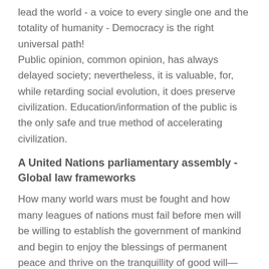lead the world - a voice to every single one and the totality of humanity - Democracy is the right universal path! Public opinion, common opinion, has always delayed society; nevertheless, it is valuable, for, while retarding social evolution, it does preserve civilization. Education/information of the public is the only safe and true method of accelerating civilization.
A United Nations parliamentary assembly - Global law frameworks
How many world wars must be fought and how many leagues of nations must fail before men will be willing to establish the government of mankind and begin to enjoy the blessings of permanent peace and thrive on the tranquillity of good will—world-wide good will—among men? Earth will not enjoy lasting peace until the so-called sovereign nations intelligently and fully share their sovereign powers into the hands of the brotherhood of men—mankind